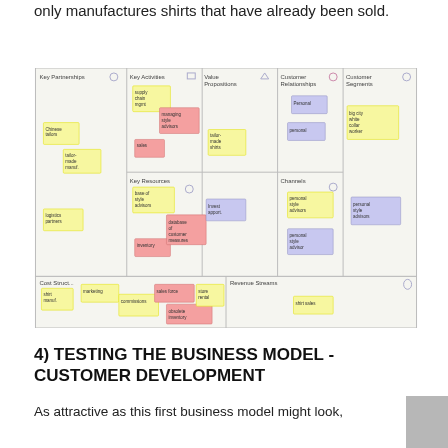only manufactures shirts that have already been sold.
[Figure (infographic): Business Model Canvas with sticky notes showing Key Partnerships (Chinese tailors, tailor-made manuf., logistics partners), Key Activities (supply chain mgmt, managing style advisors, sales), Value Propositions (tailor-made shirts), Customer Relationships (Personal, personal), Customer Segments (big city white collar worker, personal style advisors), Key Resources (base of style advisors, database of customer measures, inventory), Channels (personal style advisors, personal style advisor), Cost Structure (shirt manuf., marketing, commissions, sales force, obsolete inventory, store rental), Revenue Streams (shirt sales)]
4) TESTING THE BUSINESS MODEL - CUSTOMER DEVELOPMENT
As attractive as this first business model might look, it would be a long way from success. As long as...